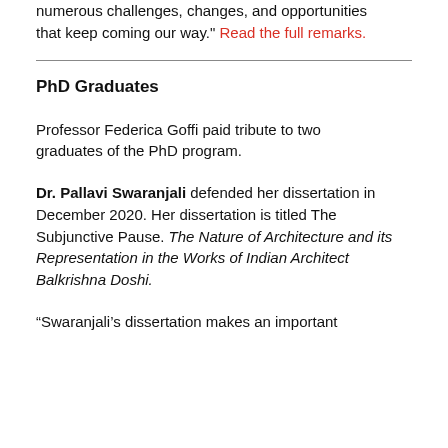numerous challenges, changes, and opportunities that keep coming our way." Read the full remarks.
PhD Graduates
Professor Federica Goffi paid tribute to two graduates of the PhD program.
Dr. Pallavi Swaranjali defended her dissertation in December 2020. Her dissertation is titled The Subjunctive Pause. The Nature of Architecture and its Representation in the Works of Indian Architect Balkrishna Doshi.
“Swaranjali’s dissertation makes an important